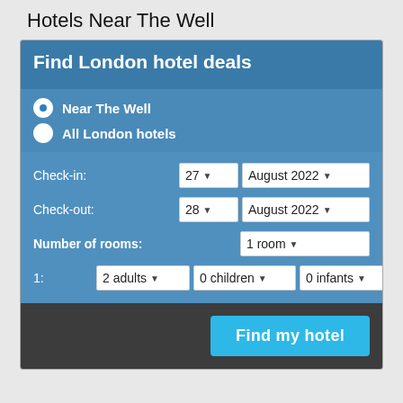Hotels Near The Well
[Figure (screenshot): Hotel search widget with 'Find London hotel deals' header, radio buttons for 'Near The Well' and 'All London hotels', check-in date (27 August 2022), check-out date (28 August 2022), number of rooms (1 room), occupancy (2 adults, 0 children, 0 infants), and a 'Find my hotel' button.]